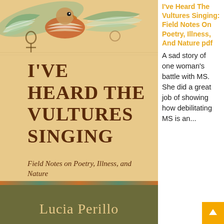[Figure (illustration): Book cover of 'I've Heard The Vultures Singing: Field Notes on Poetry, Illness, and Nature' by Lucia Perillo. The cover features an Egyptian-style bird (vulture/deity) with spread wings at the top, set against a sandy/beige papyrus-like background with hieroglyphic decorations. The lower portion of the cover is olive/dark green. The title is in large serif letters in dark brown, and the author's name is in cream/gold at the bottom.]
I've Heard The Vultures Singing: Field Notes On Poetry, Illness, And Nature pdf
A sad story of one woman's battle with MS. She did a great job of showing how debilitating MS is an...